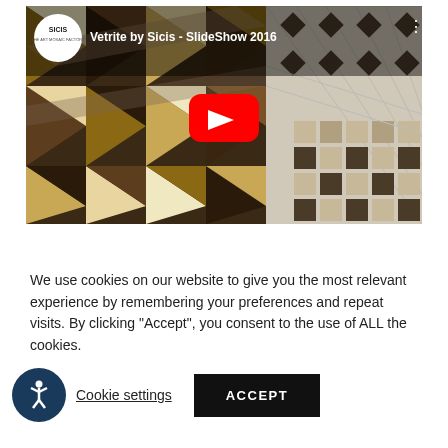[Figure (screenshot): YouTube video thumbnail for 'Vetrite by Sicis - SlideShow 2016' showing mosaic tile patterns in brown, cream, gold, and white geometric triangle designs. Features SICIS logo circle in top-left, video title text, a red YouTube play button in the center, and a vertical three-dot menu icon in the top-right.]
We use cookies on our website to give you the most relevant experience by remembering your preferences and repeat visits. By clicking "Accept", you consent to the use of ALL the cookies.
Cookie settings   ACCEPT